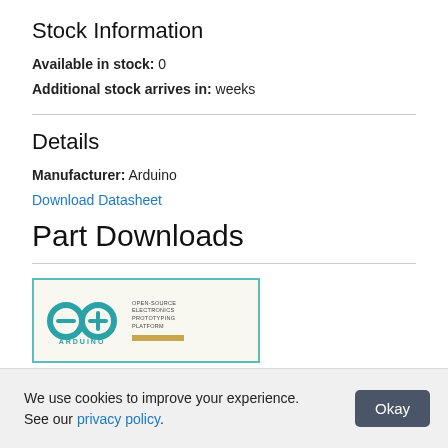Stock Information
Available in stock: 0
Additional stock arrives in: weeks
Details
Manufacturer: Arduino
Download Datasheet
Part Downloads
[Figure (photo): Arduino product box image showing Arduino infinity logo and text]
We use cookies to improve your experience. See our privacy policy.